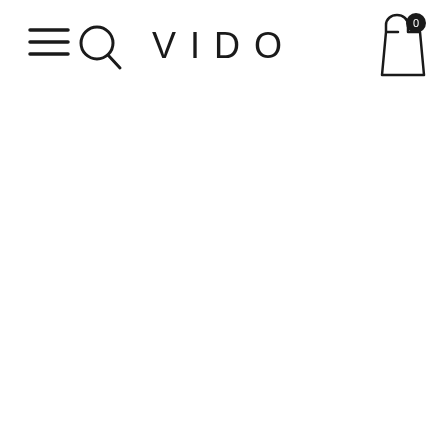[Figure (screenshot): Website header navigation bar for VIDO brand. Contains hamburger menu icon on the left, search icon, centered VIDO logo text, and shopping bag icon with 0 badge on the right.]